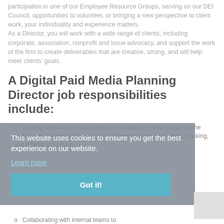participation in one of our Employee Resource Groups, serving on our DEI Council, opportunities to volunteer, or bringing a new perspective to client work, your individuality and experience matters.
As a Director, you will work with a wide range of clients, including corporate, association, nonprofit and issue advocacy, and support the work of the firm to create deliverables that are creative, strong, and will help meet clients' goals.
A Digital Paid Media Planning Director job responsibilities include:
o  working with vendors and platforms to optimize performance on the digital, editorial ads. This includes implementing and monitoring, tracking, and optimization plans.
o  Collaborating with internal teams to
[Figure (other): Cookie consent banner overlay with grey background. Text: 'This website uses cookies to ensure you get the best experience on our website.' with a 'Learn more' link and a teal 'Got it!' button.]